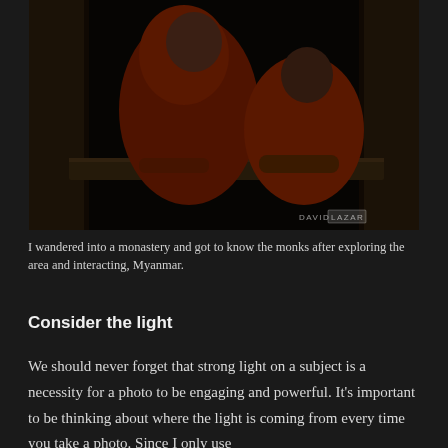[Figure (photo): Two young Buddhist monks in red robes leaning on a wooden window ledge inside a dark monastery. The monks look directly at the camera. Photo credit: DAVID LAZAR. Location: Myanmar.]
I wandered into a monastery and got to know the monks after exploring the area and interacting, Myanmar.
Consider the light
We should never forget that strong light on a subject is a necessity for a photo to be engaging and powerful. It's important to be thinking about where the light is coming from every time you take a photo. Since I only use